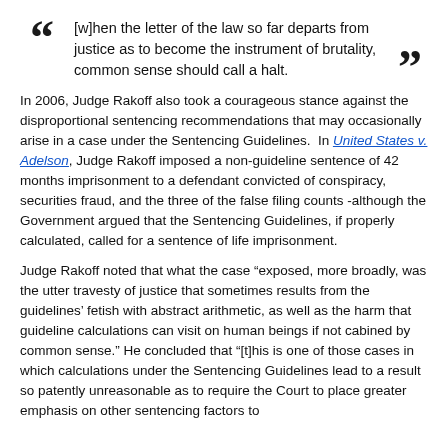[w]hen the letter of the law so far departs from justice as to become the instrument of brutality, common sense should call a halt.
In 2006, Judge Rakoff also took a courageous stance against the disproportional sentencing recommendations that may occasionally arise in a case under the Sentencing Guidelines. In United States v. Adelson, Judge Rakoff imposed a non-guideline sentence of 42 months imprisonment to a defendant convicted of conspiracy, securities fraud, and the three of the false filing counts -although the Government argued that the Sentencing Guidelines, if properly calculated, called for a sentence of life imprisonment.
Judge Rakoff noted that what the case “exposed, more broadly, was the utter travesty of justice that sometimes results from the guidelines’ fetish with abstract arithmetic, as well as the harm that guideline calculations can visit on human beings if not cabined by common sense.” He concluded that “[t]his is one of those cases in which calculations under the Sentencing Guidelines lead to a result so patently unreasonable as to require the Court to place greater emphasis on other sentencing factors to